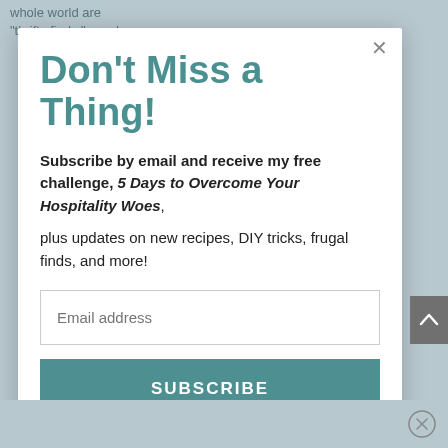whole world are "thrifty finds" so when
Don't Miss a Thing!
Subscribe by email and receive my free challenge, 5 Days to Overcome Your Hospitality Woes, plus updates on new recipes, DIY tricks, frugal finds, and more!
Email address
SUBSCRIBE